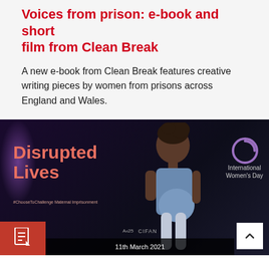Voices from prison: e-book and short film from Clean Break
A new e-book from Clean Break features creative writing pieces by women from prisons across England and Wales.
[Figure (photo): Promotional image for 'Disrupted Lives' event for International Women's Day featuring a pregnant Black woman standing against a dark background. Text reads 'Disrupted Lives #ChooseToChallenge Maternal Imprisonment'. International Women's Day logo visible top right. Date shown: 11th March 2021.]